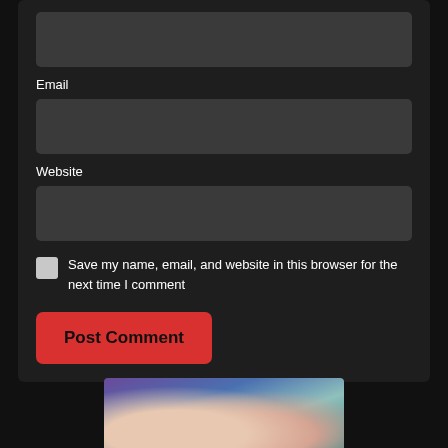Email
Website
Save my name, email, and website in this browser for the next time I comment
Post Comment
[Figure (photo): Partial photo of a person against a purple/blue background, bottom of page]